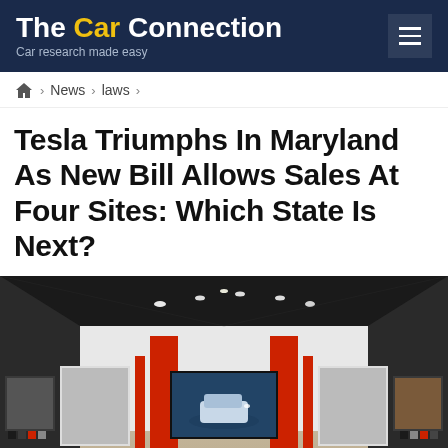The Car Connection — Car research made easy
Home > News > laws
Tesla Triumphs In Maryland As New Bill Allows Sales At Four Sites: Which State Is Next?
[Figure (photo): Interior of a Tesla showroom with red accent columns, display screens on walls, and a large TV screen showing a Tesla vehicle in the center.]